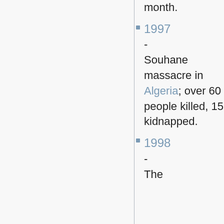month.
1997 - Souhane massacre in Algeria; over 60 people killed, 15 kidnapped.
1998 - The